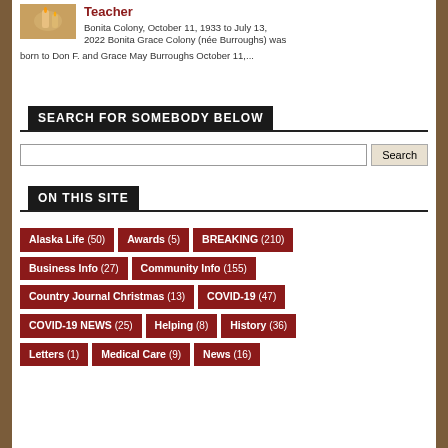[Figure (photo): Thumbnail photo of candles with warm orange/amber glow, representing a memorial/obituary article]
Teacher
Bonita Colony, October 11, 1933 to July 13, 2022  Bonita Grace Colony (née Burroughs) was born to Don F. and Grace May Burroughs October 11,...
SEARCH FOR SOMEBODY BELOW
ON THIS SITE
Alaska Life (50)
Awards (5)
BREAKING (210)
Business Info (27)
Community Info (155)
Country Journal Christmas (13)
COVID-19 (47)
COVID-19 NEWS (25)
Helping (8)
History (36)
Letters (1)
Medical Care (9)
News (16)